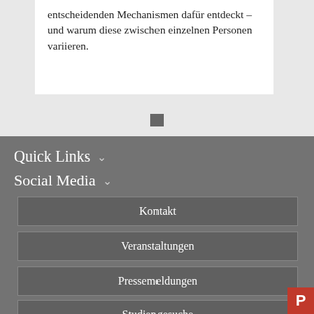entscheidenden Mechanismen dafür entdeckt – und warum diese zwischen einzelnen Personen variieren.
Quick Links
Social Media
Kontakt
Veranstaltungen
Pressemeldungen
Studiengesuche